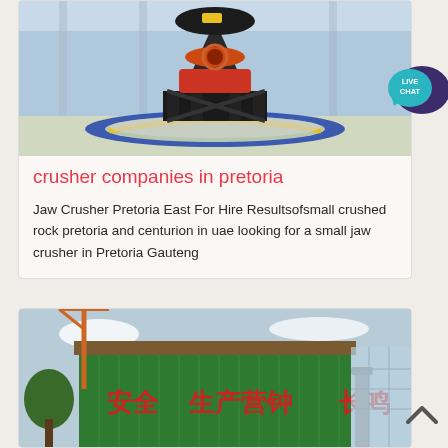[Figure (photo): Industrial cone crusher machine in a factory/plant setting, with grey crushed stone on the floor and blue/yellow painted floor markings. Machine is black and red/orange colored.]
crusher companies in pretoria
Jaw Crusher Pretoria East For Hire Resultsofsmall crushed rock pretoria and centurion in uae looking for a small jaw crusher in Pretoria Gauteng
[Figure (photo): Green industrial building facade with Chinese characters on it reading safety production signs, with construction cranes visible.]